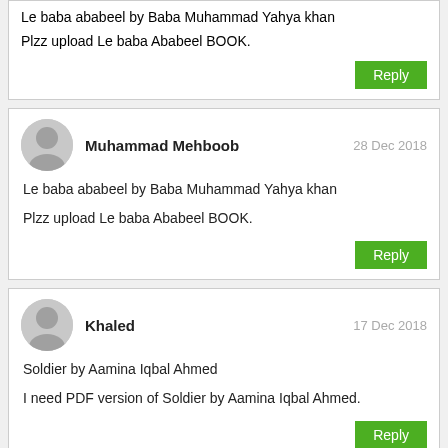Le baba ababeel by Baba Muhammad Yahya khan
Plzz upload Le baba Ababeel BOOK.
Muhammad Mehboob
28 Dec 2018
Le baba ababeel by Baba Muhammad Yahya khan
Plzz upload Le baba Ababeel BOOK.
Khaled
17 Dec 2018
Soldier by Aamina Iqbal Ahmed
I need PDF version of Soldier by Aamina Iqbal Ahmed.